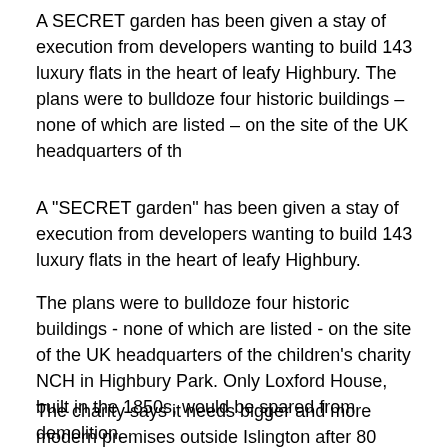A SECRET garden has been given a stay of execution from developers wanting to build 143 luxury flats in the heart of leafy Highbury. The plans were to bulldoze four historic buildings – none of which are listed – on the site of the UK headquarters of th
A "SECRET garden" has been given a stay of execution from developers wanting to build 143 luxury flats in the heart of leafy Highbury.
The plans were to bulldoze four historic buildings - none of which are listed - on the site of the UK headquarters of the children's charity NCH in Highbury Park. Only Loxford House, built in the 1850s, would be spared from demolition.
The charity says it needs bigger and more modern premises outside Islington after 80 years in the borough - and that it needs to sell the land to